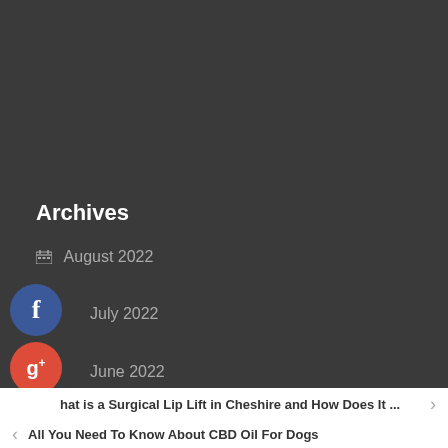Archives
August 2022
July 2022
June 2022
May 2022
hat is a Surgical Lip Lift in Cheshire and How Does It ...
All You Need To Know About CBD Oil For Dogs